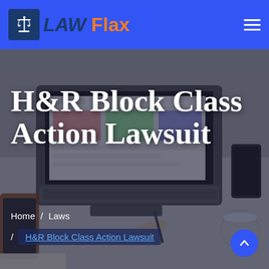LAW Flax
[Figure (screenshot): Hero background image showing a laptop on a desk with a hand holding a pen, overlaid with dark tint]
H&R Block Class Action Lawsuit
Home /  Laws
/ H&R Block Class Action Lawsuit